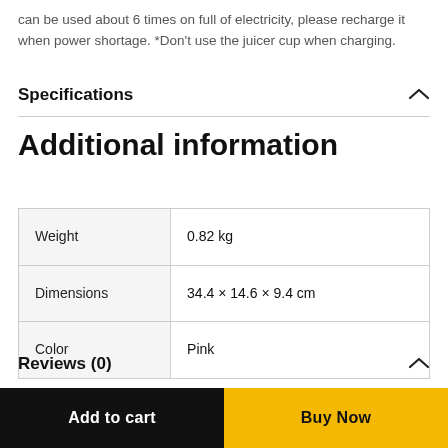can be used about 6 times on full of electricity, please recharge it when power shortage. *Don't use the juicer cup when charging.
Specifications
Additional information
| Weight | 0.82 kg |
| Dimensions | 34.4 × 14.6 × 9.4 cm |
| Color | Pink |
Reviews (0)